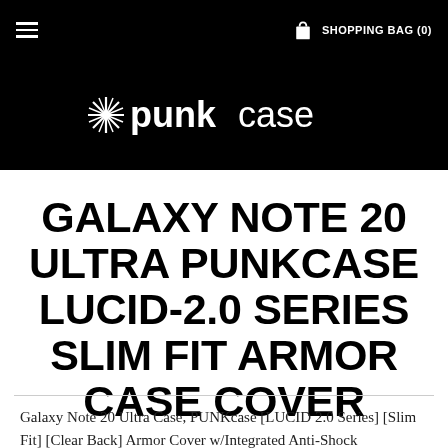☰  SHOPPING BAG (0)
[Figure (logo): PUNKcase logo — stylized asterisk/star followed by 'punk' in bold white and 'case' in regular white on black background]
GALAXY NOTE 20 ULTRA PUNKCASE LUCID-2.0 SERIES SLIM FIT ARMOR CASE COVER
Galaxy Note 20 Ultra Case, PUNKcase [LUCID 2.0 Series] [Slim Fit] [Clear Back] Armor Cover w/Integrated Anti-Shock